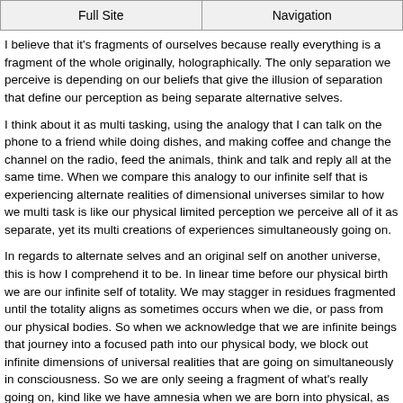Full Site | Navigation
I believe that it's fragments of ourselves because really everything is a fragment of the whole originally, holographically. The only separation we perceive is depending on our beliefs that give the illusion of separation that define our perception as being separate alternative selves.
I think about it as multi tasking, using the analogy that I can talk on the phone to a friend while doing dishes, and making coffee and change the channel on the radio, feed the animals, think and talk and reply all at the same time. When we compare this analogy to our infinite self that is experiencing alternate realities of dimensional universes similar to how we multi task is like our physical limited perception we perceive all of it as separate, yet its multi creations of experiences simultaneously going on.
In regards to alternate selves and an original self on another universe, this is how I comprehend it to be. In linear time before our physical birth we are our infinite self of totality. We may stagger in residues fragmented until the totality aligns as sometimes occurs when we die, or pass from our physical bodies. So when we acknowledge that we are infinite beings that journey into a focused path into our physical body, we block out infinite dimensions of universal realities that are going on simultaneously in consciousness. So we are only seeing a fragment of what's really going on, kind like we have amnesia when we are born into physical, as a safe guard so that we can function first in physical until we are ready to lift from the amnesia, which is when we start to remember, or what is referred to awakening or enlightenment.